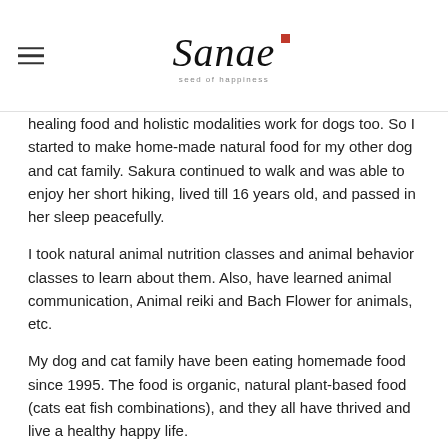Sanae – seed of happiness
healing food and holistic modalities work for dogs too. So I started to make home-made natural food for my other dog and cat family. Sakura continued to walk and was able to enjoy her short hiking, lived till 16 years old, and passed in her sleep peacefully.
I took natural animal nutrition classes and animal behavior classes to learn about them. Also, have learned animal communication, Animal reiki and Bach Flower for animals, etc.
My dog and cat family have been eating homemade food since 1995. The food is organic, natural plant-based food (cats eat fish combinations), and they all have thrived and live a healthy happy life.
I have been practicing what I have learned for my own animal kids and my dogs have lived 12~16 years old and they have passed peacefully in their sleep.
My cats Kona, lived till 20 years old and Maida lived till 18...